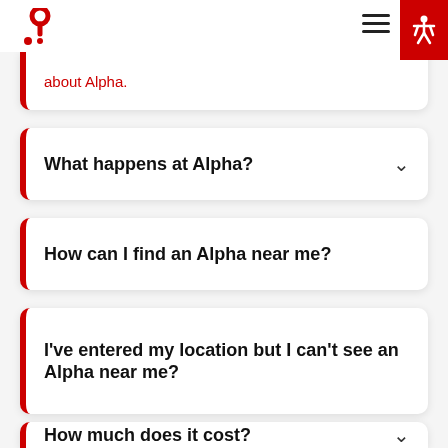Alpha FAQ page header with logo and navigation
about Alpha.
What happens at Alpha?
How can I find an Alpha near me?
I've entered my location but I can't see an Alpha near me?
How much does it cost?